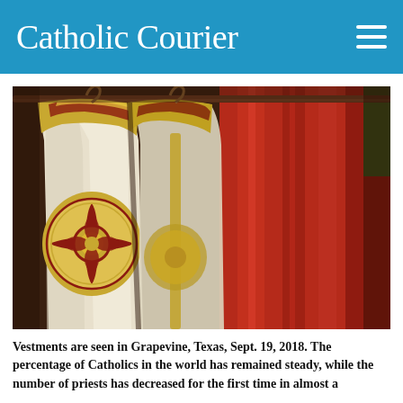Catholic Courier
[Figure (photo): Liturgical vestments hanging on a rack, showing ornate white and gold chasubles with red embroidered decoration in the foreground, and red vestments in the background. Photographed in Grapevine, Texas, Sept. 19, 2018.]
Vestments are seen in Grapevine, Texas, Sept. 19, 2018. The percentage of Catholics in the world has remained steady, while the number of priests has decreased for the first time in almost a decade, according to Vatican-issued data. (CNS photo/Tom Tingle)